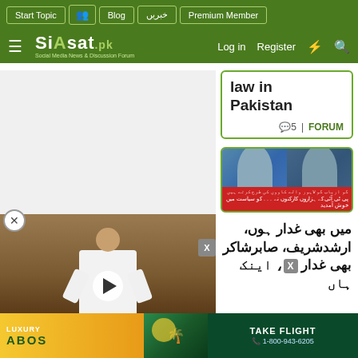Siasat.pk — Social Media News & Discussion Forum navigation: Start Topic | Blog | خبریں | Premium Member | Log in | Register
law in Pakistan
💬5 | FORUM
[Figure (screenshot): Two men in blue clothing side by side, with red caption bar in Urdu text]
میں بھی غدار ہوں، ارشدشریف، صابرشاکر بھی غدار، اینک حان
[Figure (photo): Video player showing a man in white suit speaking at a podium with a blue front panel and golden seal]
[Figure (photo): Advertisement banner: LUXURY ABOS / TAKE FLIGHT / 1-800-943-6205]